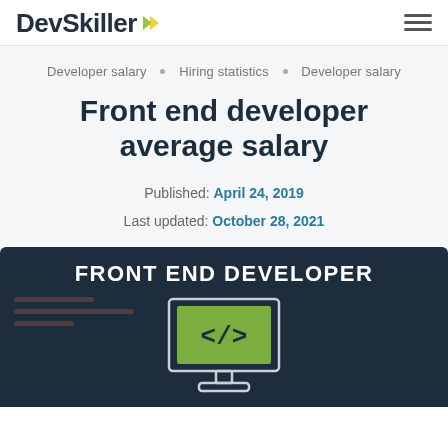DevSkiller
Developer salary • Hiring statistics • Developer salary
Front end developer average salary
Published: April 24, 2019
Last updated: October 28, 2021
[Figure (illustration): Dark banner with 'FRONT END DEVELOPER' text and a green monitor icon showing a code bracket symbol]